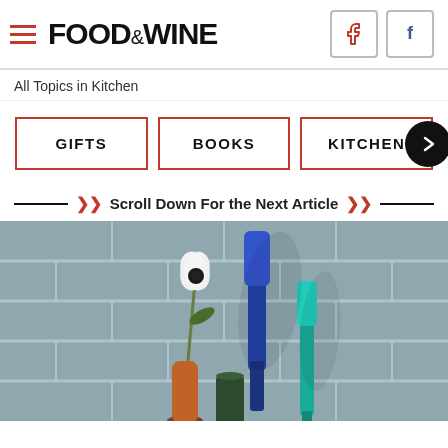FOOD & WINE
All Topics in Kitchen
GIFTS
BOOKS
KITCHEN
Scroll Down For the Next Article
[Figure (photo): Kitchen utensils including blue and teal spatulas and a small flower vase against a gray subway tile wall background]